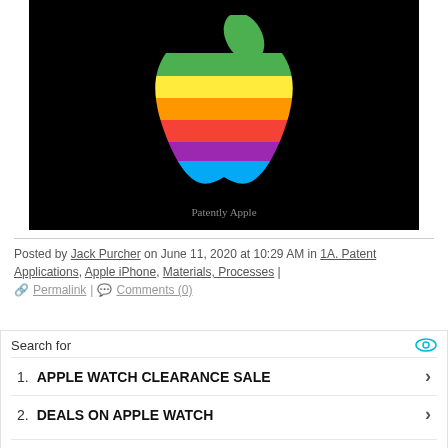[Figure (logo): Rainbow Apple logo on black background, classic multicolor striped apple with green leaf, Patently Apple watermark at bottom]
Posted by Jack Purcher on June 11, 2020 at 10:29 AM in 1A. Patent Applications, Apple iPhone, Materials, Processes |
🔗 Permalink | 💬 Comments (0)
Search for
1. APPLE WATCH CLEARANCE SALE
2. DEALS ON APPLE WATCH
Ad | Business Focus